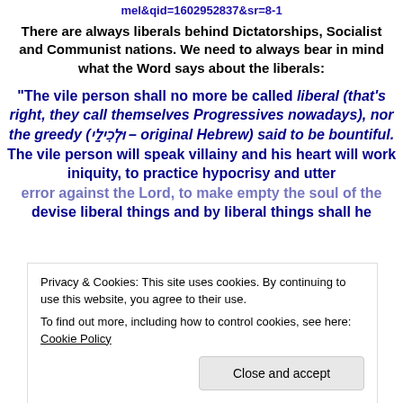mel&qid=1602952837&sr=8-1
There are always liberals behind Dictatorships, Socialist and Communist nations. We need to always bear in mind what the Word says about the liberals:
“The vile person shall no more be called liberal (that’s right, they call themselves Progressives nowadays), nor the greedy (ולכִילִי – original Hebrew) said to be bountiful. The vile person will speak villainy and his heart will work iniquity, to practice hypocrisy and utter error against the Lord, to make empty the soul of the
devise liberal things and by liberal things shall he
Privacy & Cookies: This site uses cookies. By continuing to use this website, you agree to their use.
To find out more, including how to control cookies, see here: Cookie Policy
Close and accept